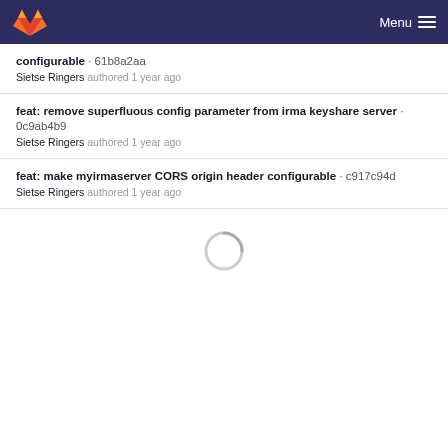Menu
configurable · 61b8a2aa
Sietse Ringers authored 1 year ago
feat: remove superfluous config parameter from irma keyshare server · 0c9ab4b9
Sietse Ringers authored 1 year ago
feat: make myirmaserver CORS origin header configurable · c917c94d
Sietse Ringers authored 1 year ago
[Figure (other): Loading spinner circle indicator]